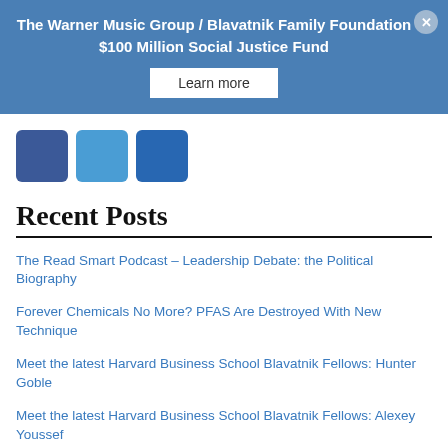The Warner Music Group / Blavatnik Family Foundation $100 Million Social Justice Fund
Learn more
[Figure (illustration): Three social media icon buttons: Facebook (blue), Twitter (light blue), LinkedIn (dark blue)]
Recent Posts
The Read Smart Podcast – Leadership Debate: the Political Biography
Forever Chemicals No More? PFAS Are Destroyed With New Technique
Meet the latest Harvard Business School Blavatnik Fellows: Hunter Goble
Meet the latest Harvard Business School Blavatnik Fellows: Alexey Youssef
Meet the latest Harvard Business School Blavatnik Fellows: Ilana Springer Borkenstein